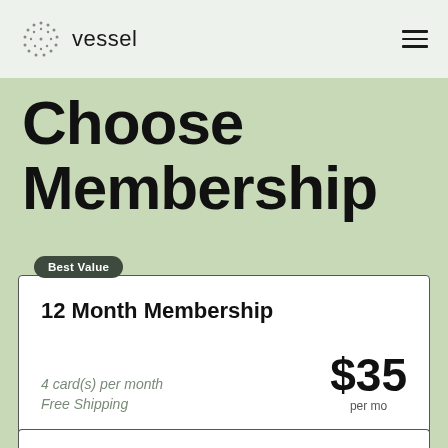vessel
Choose Membership
Best Value
12 Month Membership
4 card(s) per month
Free Shipping
$35 per mo